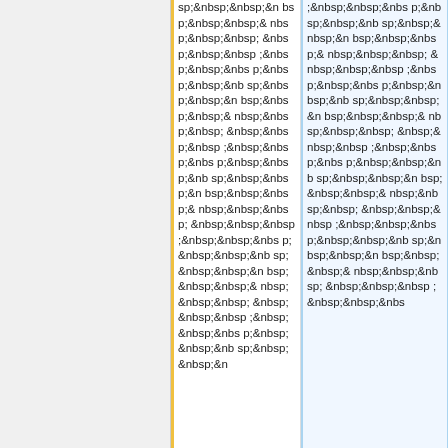sp;&nbsp;&nbsp;&n bsp;&nbsp;&nbsp;& nbsp;&nbsp;&nbsp; &nbsp;&nbsp;&nbsp ;&nbsp;&nbsp;&nbs p;&nbsp;&nbsp;&nb sp;&nbsp;&nbsp;&n bsp;&nbsp;&nbsp;& nbsp;&nbsp;&nbsp; &nbsp;&nbsp;&nbsp ;&nbsp;&nbsp;&nbs p;&nbsp;&nbsp;&nb sp;&nbsp;&nbsp;&n bsp;&nbsp;&nbsp;& nbsp;&nbsp;&nbsp; &nbsp;&nbsp;&nbsp ;&nbsp;&nbsp;&nbs p;&nbsp;&nbsp;&nb sp;&nbsp;&nbsp;&n
;&nbsp;&nbsp;&nbs p;&nbsp;&nbsp;&nb sp;&nbsp;&nbsp;&n bsp;&nbsp;&nbsp;& nbsp;&nbsp;&nbsp; &nbsp;&nbsp;&nbsp ;&nbsp;&nbsp;&nbs p;&nbsp;&nbsp;&nb sp;&nbsp;&nbsp;&n bsp;&nbsp;&nbsp;& nbsp;&nbsp;&nbsp; &nbsp;&nbsp;&nbsp ;&nbsp;&nbsp;&nbs p;&nbsp;&nbsp;&nb sp;&nbsp;&nbsp;&n bsp;&nbsp;&nbsp;& nbsp;&nbsp;&nbsp; &nbsp;&nbsp;&nbsp ;&nbsp;&nbsp;&nbs